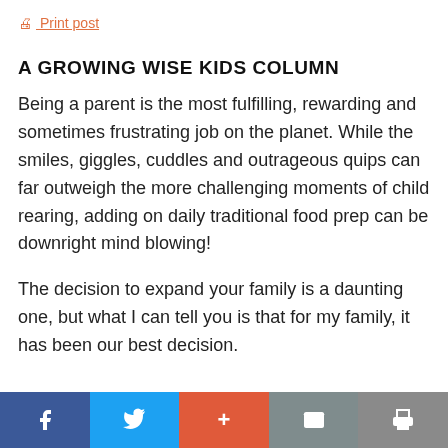Print post
A GROWING WISE KIDS COLUMN
Being a parent is the most fulfilling, rewarding and sometimes frustrating job on the planet. While the smiles, giggles, cuddles and outrageous quips can far outweigh the more challenging moments of child rearing, adding on daily traditional food prep can be downright mind blowing!
The decision to expand your family is a daunting one, but what I can tell you is that for my family, it has been our best decision.